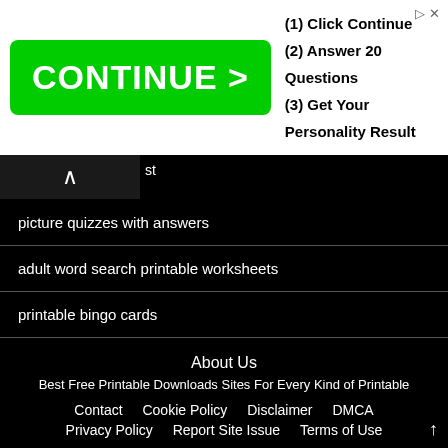[Figure (other): Advertisement banner with green CONTINUE > button and steps: (1) Click Continue, (2) Answer 20 Questions, (3) Get Your Personality Result]
picture quizzes with answers
adult word search printable worksheets
printable bingo cards
free printable adult word searches
large print bingo cards printable
About Us
Best Free Printable Downloads Sites For Every Kind of Printable
Contact  Cookie Policy  Disclaimer  DMCA
Privacy Policy  Report Site Issue  Terms of Use